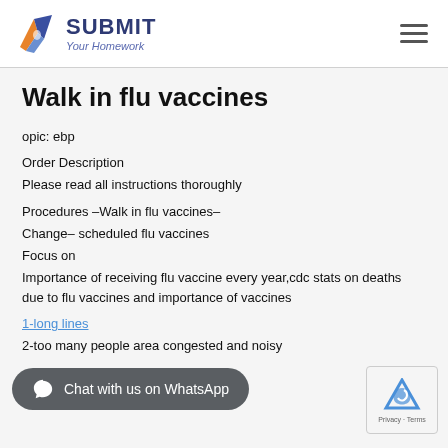SUBMIT Your Homework
Walk in flu vaccines
opic: ebp
Order Description
Please read all instructions thoroughly
Procedures –Walk in flu vaccines–
Change– scheduled flu vaccines
Focus on
Importance of receiving flu vaccine every year,cdc stats on deaths due to flu vaccines and importance of vaccines
1-long lines
2-too many people area congested and noisy